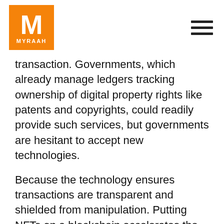MYRAAH
transaction. Governments, which already manage ledgers tracking ownership of digital property rights like patents and copyrights, could readily provide such services, but governments are hesitant to accept new technologies.
Because the technology ensures transactions are transparent and shielded from manipulation. Putting NFTs on a blockchain accelerates the process of gaining creators and consumers' trust in